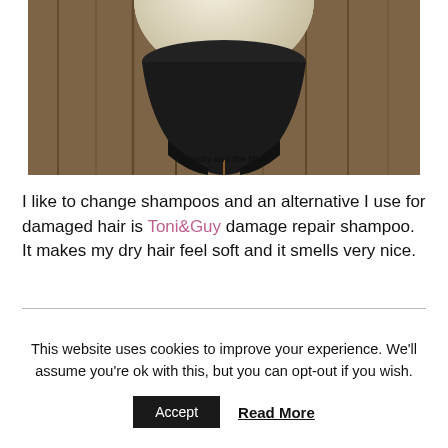[Figure (photo): Bottom portion of a round cream/white lamp mounted on a dark metal bracket, set against a rustic wooden plank wall background. Watermark reads 'Beauty and the Mist'.]
I like to change shampoos and an alternative I use for damaged hair is Toni&Guy damage repair shampoo. It makes my dry hair feel soft and it smells very nice.
This website uses cookies to improve your experience. We'll assume you're ok with this, but you can opt-out if you wish.